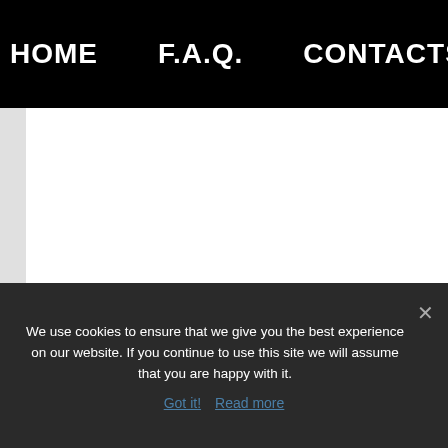HOME   F.A.Q.   CONTACTS   f
[Figure (screenshot): White content area below navigation bar, with a light gray left border strip]
We use cookies to ensure that we give you the best experience on our website. If you continue to use this site we will assume that you are happy with it.
Got it!  Read more